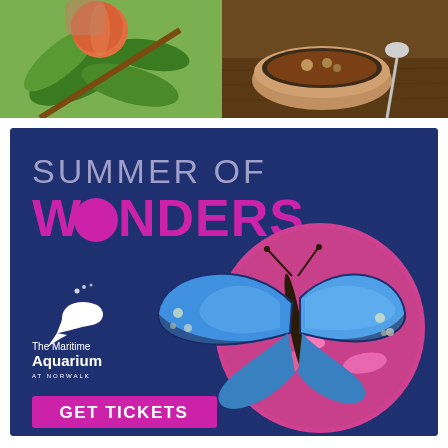[Figure (photo): Two food/nature photos side by side at top: left shows fruit and leaves on a branch, right shows a bowl of food with a spoon on a wooden surface]
[Figure (illustration): Advertisement for The Maritime Aquarium at Norwalk 'Summer of Wonders' campaign on dark navy background with a blue morpho butterfly on a circular pink flower background, aquarium logo, and 'GET TICKETS' call-to-action button in magenta]